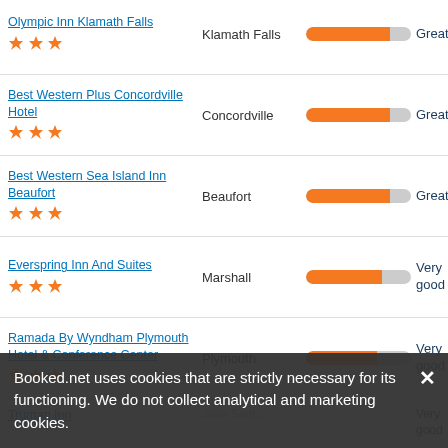Olympic Inn Klamath Falls ★★★ | Klamath Falls | Great
Best Western Plus Concordville Hotel ★★★ | Concordville | Great
Best Western Sea Island Inn Beaufort ★★★ | Beaufort | Great
Everspring Inn And Suites ★★★ | Marshall | Very good
Ramada By Wyndham Plymouth Hotel & Conference Center ★★★ | Plymouth | Very good
Truman Inn | Very good
Garden State Inn Absecon
Booked.net uses cookies that are strictly necessary for its functioning. We do not collect analytical and marketing cookies.